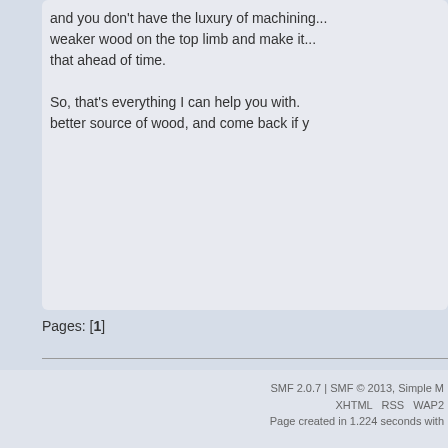and you don't have the luxury of machining... weaker wood on the top limb and make it... that ahead of time.

So, that's everything I can help you with. better source of wood, and come back if y
Pages: [1]
Primitive Archer » Main Discussion Area » Bows » Cutting nocks into a snakey bow?
SMF 2.0.7 | SMF © 2013, Simple M
XHTML   RSS   WAP2
Page created in 1.224 seconds with